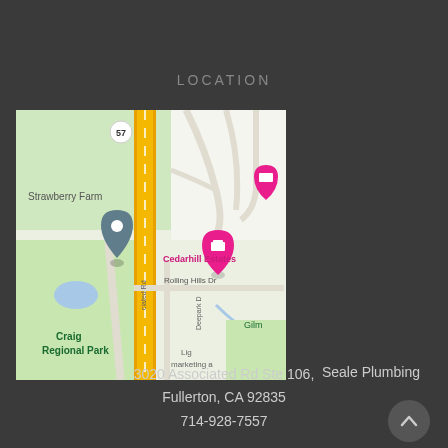LOCATION
[Figure (map): Google Maps screenshot showing the area around 3020 Associated Rd Ste 106, Fullerton, CA 92835. Shows Craig Regional Park, Cedarhill Estates, Strawberry Farm, Rolling Hills Dr, Gilm(ore), Route 57 highway, Associated Rd, Deepark Dr, and a location pin marker. Pink hotel pins visible for Cedarhill Estates and another location. Map marker (dark gray teardrop) indicates Seale Plumbing location.]
Seale Plumbing
3020 Associated Rd Ste 106, Fullerton, CA 92835
714-928-7557